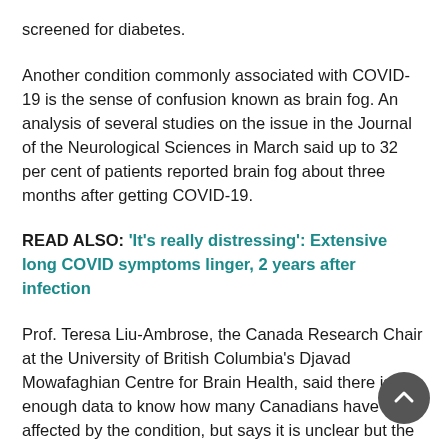screened for diabetes.
Another condition commonly associated with COVID-19 is the sense of confusion known as brain fog. An analysis of several studies on the issue in the Journal of the Neurological Sciences in March said up to 32 per cent of patients reported brain fog about three months after getting COVID-19.
READ ALSO: 'It's really distressing': Extensive long COVID symptoms linger, 2 years after infection
Prof. Teresa Liu-Ambrose, the Canada Research Chair at the University of British Columbia's Djavad Mowafaghian Centre for Brain Health, said there isn't enough data to know how many Canadians have been affected by the condition, but says it is unclear but the most recent